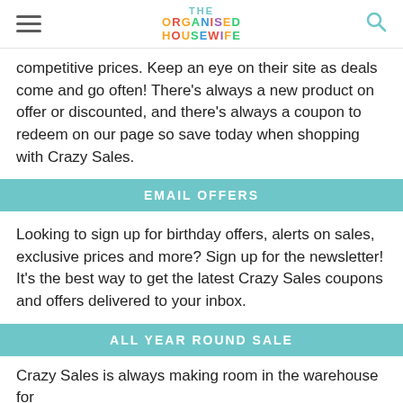THE ORGANISED HOUSEWIFE
competitive prices. Keep an eye on their site as deals come and go often! There's always a new product on offer or discounted, and there's always a coupon to redeem on our page so save today when shopping with Crazy Sales.
EMAIL OFFERS
Looking to sign up for birthday offers, alerts on sales, exclusive prices and more? Sign up for the newsletter! It's the best way to get the latest Crazy Sales coupons and offers delivered to your inbox.
ALL YEAR ROUND SALE
Crazy Sales is always making room in the warehouse for